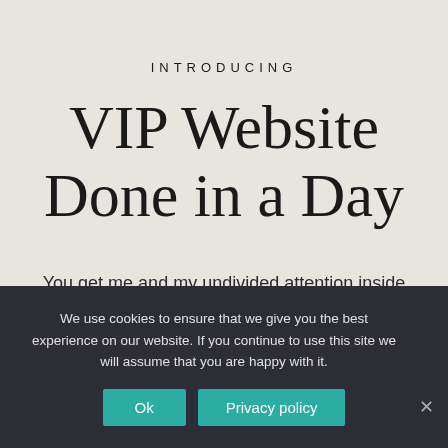INTRODUCING
VIP Website Done in a Day
You get me and my undivided attention inside your business for a full day, designing and building your
We use cookies to ensure that we give you the best experience on our website. If you continue to use this site we will assume that you are happy with it.
Ok
Privacy policy